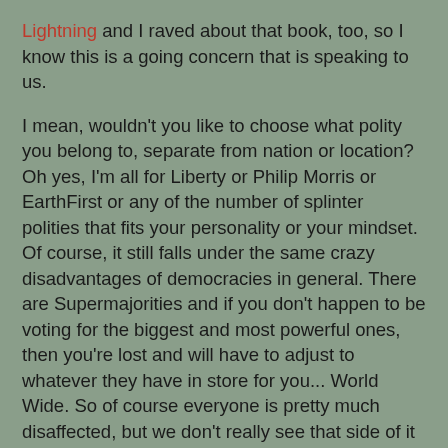Lightning and I raved about that book, too, so I know this is a going concern that is speaking to us.
I mean, wouldn't you like to choose what polity you belong to, separate from nation or location? Oh yes, I'm all for Liberty or Philip Morris or EarthFirst or any of the number of splinter polities that fits your personality or your mindset. Of course, it still falls under the same crazy disadvantages of democracies in general. There are Supermajorities and if you don't happen to be voting for the biggest and most powerful ones, then you're lost and will have to adjust to whatever they have in store for you... World Wide. So of course everyone is pretty much disaffected, but we don't really see that side of it in this novel, because we're firmly in the heads of the pollsters and the Information department that is pretty much the lawmen and the ones that are determined to make sure the BS doesn't get out of hand.
Of course, it does. This novel has tons of great conflict, great action, interesting characters, and a very solid story that ends with a lot of great questions while answering enough to satisfy this reader nicely. :)